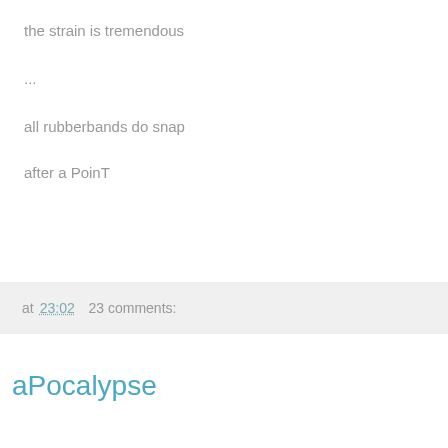the strain is tremendous
...
all rubberbands do snap
after a PoinT
at 23:02   23 comments:
Tuesday, 12 May 2015
aPocalypse